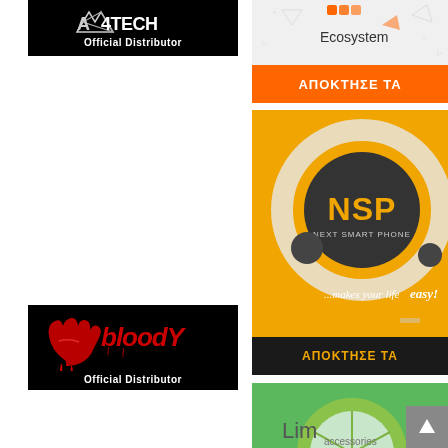[Figure (logo): A4TECH Official Distributor black banner with white logo and text]
[Figure (logo): Xiaomi Ecosystem banner with orange 'ΑΠΟΚΤΗΣΕ ΤΑ' button]
[Figure (logo): NSP Next Smart Phone banner in yellow/black with 'ΑΠΟΚΤΗΣΕ ΤΑ' bar]
[Figure (logo): Bloody Official Distributor black banner with red dripping logo]
[Figure (logo): Limo Accessories partial green banner visible at bottom right]